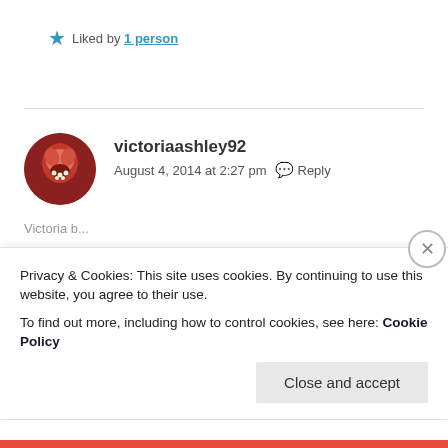Liked by 1 person
victoriaashley92
August 4, 2014 at 2:27 pm  Reply
[Figure (photo): Circular avatar photo of user victoriaashley92, showing a reddish floral or food image]
Privacy & Cookies: This site uses cookies. By continuing to use this website, you agree to their use.
To find out more, including how to control cookies, see here: Cookie Policy
Close and accept